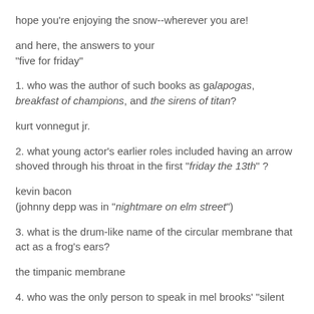hope you're enjoying the snow--wherever you are!
and here, the answers to your "five for friday"
1. who was the author of such books as galapogas, breakfast of champions, and the sirens of titan?
kurt vonnegut jr.
2. what young actor's earlier roles included having an arrow shoved through his throat in the first "friday the 13th" ?
kevin bacon
(johnny depp was in "nightmare on elm street")
3. what is the drum-like name of the circular membrane that act as a frog's ears?
the timpanic membrane
4. who was the only person to speak in mel brooks' "silent